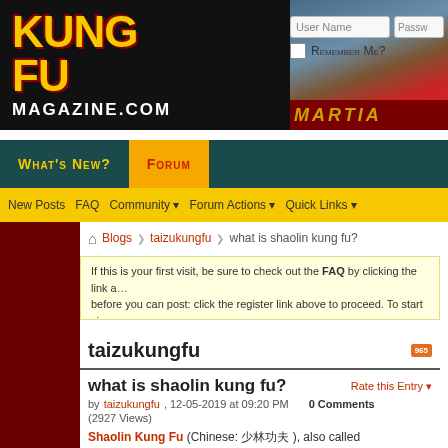[Figure (logo): Kung Fu Magazine.com logo with yellow stylized text on dark background, with martial arts imagery banner]
What's New? | Forum | New Posts | FAQ | Community | Forum Actions | Quick Links
Blogs > taizukungfu > what is shaolin kung fu?
If this is your first visit, be sure to check out the FAQ by clicking the link a... before you can post: click the register link above to proceed. To start view... you want to visit from the selection below.
taizukungfu
what is shaolin kung fu?
Rate this Entry
by taizukungfu, 12-05-2019 at 09:20 PM   0 Comments
(2927 Views)
Shaolin Kung Fu (Chinese: 少林功夫 ), also called Shaolin Wushu (少林武術 ), is among the oldest institutionalized styles of Chinese martial arts. Known in Chinese as Shaolinquan , it originated and was developed in the Buddhist Shaolin temple in Henan province, China. , also known as